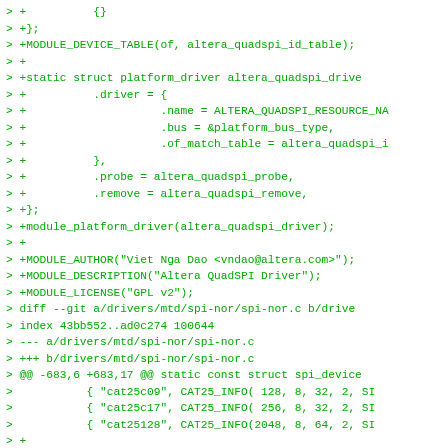> +          {}
> +};
> +MODULE_DEVICE_TABLE(of, altera_quadspi_id_table);
> +
> +static struct platform_driver altera_quadspi_drive
> +          .driver = {
> +                    .name = ALTERA_QUADSPI_RESOURCE_NA
> +                    .bus = &platform_bus_type,
> +                    .of_match_table = altera_quadspi_i
> +          },
> +          .probe = altera_quadspi_probe,
> +          .remove = altera_quadspi_remove,
> +};
> +module_platform_driver(altera_quadspi_driver);
> +
> +MODULE_AUTHOR("Viet Nga Dao <vndao@altera.com>");
> +MODULE_DESCRIPTION("Altera QuadSPI Driver");
> +MODULE_LICENSE("GPL v2");
> diff --git a/drivers/mtd/spi-nor/spi-nor.c b/drive
> index 43bb552..ad0c274 100644
> --- a/drivers/mtd/spi-nor/spi-nor.c
> +++ b/drivers/mtd/spi-nor/spi-nor.c
> @@ -683,6 +683,17 @@ static const struct spi_device
>           { "cat25c09", CAT25_INFO( 128, 8, 32, 2, SI
>           { "cat25c17", CAT25_INFO( 256, 8, 32, 2, SI
>           { "cat25128", CAT25_INFO(2048, 8, 64, 2, SI
> +
> +          /* Altera EPCQ/EPCS Flashes */
> +          { "epcq16-nonjedec",  INFO(0, 0, 0x10000, :
> +          { "epcq32-nonjedec",  INFO(0, 0, 0x10000, 0
> +          { "epcq64-nonjedec",  INFO(0, 0, 0x10000, :
> +          { "epcq128-nonjedec", INFO(0, 0, 0x10000,